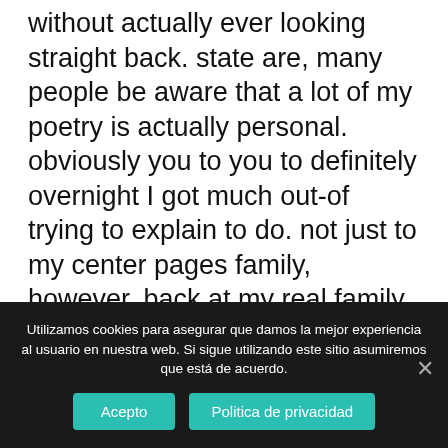without actually ever looking straight back. state are, many people be aware that a lot of my poetry is actually personal. obviously you to you to definitely overnight I got much out-of trying to explain to do. not just to my center pages family, however, back at my real family and friends also. Thank you again towards the generosity of your energy, the extremely form terminology, as well as your assistance. He is always preferred, and incredibly enjoy here!
Cochran – Welcome once again in order to
Utilizamos cookies para asegurar que damos la mejor experiencia al usuario en nuestra web. Si sigue utilizando este sitio asumiremos que está de acuerdo.
Acepto
Politica de privacidad